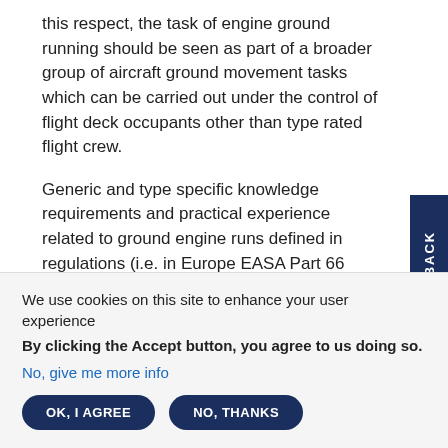this respect, the task of engine ground running should be seen as part of a broader group of aircraft ground movement tasks which can be carried out under the control of flight deck occupants other than type rated flight crew.
Generic and type specific knowledge requirements and practical experience related to ground engine runs defined in regulations (i.e. in Europe EASA Part 66 Appendix I (Basic Training Requirements) and Appendix III (Type Training Requirements), AMC 66 Appendix II
We use cookies on this site to enhance your user experience
By clicking the Accept button, you agree to us doing so.
No, give me more info
OK, I AGREE
NO, THANKS